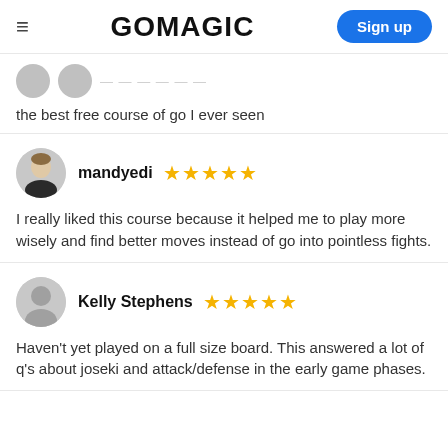GOMAGIC — Sign up
the best free course of go I ever seen
mandyedi ★★★★★
I really liked this course because it helped me to play more wisely and find better moves instead of go into pointless fights.
Kelly Stephens ★★★★★
Haven't yet played on a full size board. This answered a lot of q's about joseki and attack/defense in the early game phases.